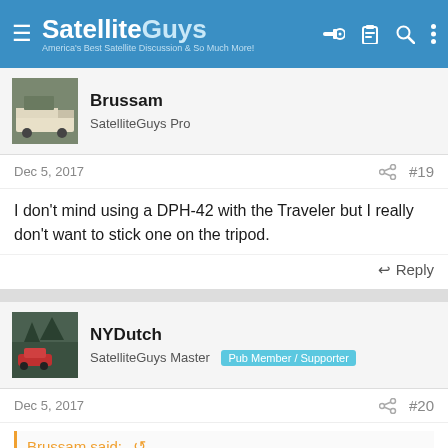SatelliteGuys — America's Best Satellite Discussion & So Much More!
Brussam
SatelliteGuys Pro
Dec 5, 2017  #19
I don't mind using a DPH-42 with the Traveler but I really don't want to stick one on the tripod.
Reply
NYDutch
SatelliteGuys Master  Pub Member / Supporter
Dec 5, 2017  #20
Brussam said: